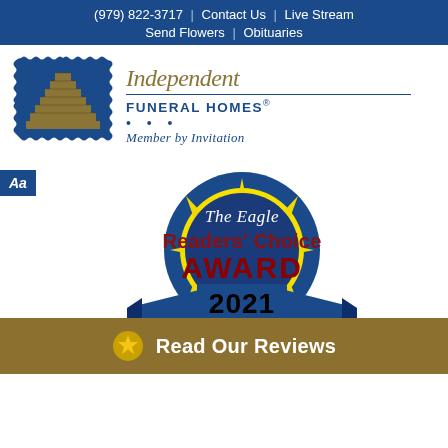(979) 822-3717 | Contact Us | Live Stream | Send Flowers | Obituaries
[Figure (logo): Independent Funeral Homes badge logo with pyramid/steps icon and text: Independent FUNERAL HOMES® Member by Invitation]
Aa
[Figure (logo): The Eagle Readers' Choice Award 2021 circular badge with blue ribbon banner, yellow starburst, red and black text]
Read Our Reviews